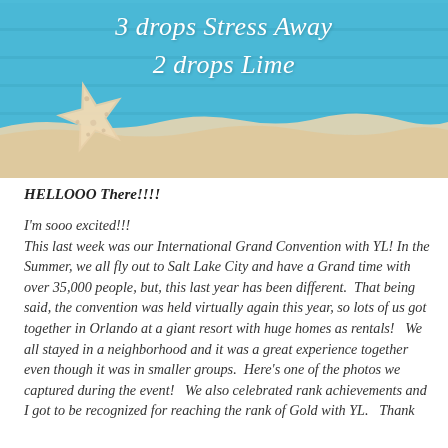[Figure (photo): Beach-themed photo with light blue wooden plank background and a white starfish resting on sand. White italic text overlay reads '3 drops Stress Away' and '2 drops Lime'.]
HELLOOO There!!!!
I'm sooo excited!!!
This last week was our International Grand Convention with YL! In the Summer, we all fly out to Salt Lake City and have a Grand time with over 35,000 people, but, this last year has been different. That being said, the convention was held virtually again this year, so lots of us got together in Orlando at a giant resort with huge homes as rentals! We all stayed in a neighborhood and it was a great experience together even though it was in smaller groups. Here's one of the photos we captured during the event! We also celebrated rank achievements and I got to be recognized for reaching the rank of Gold with YL. Thank